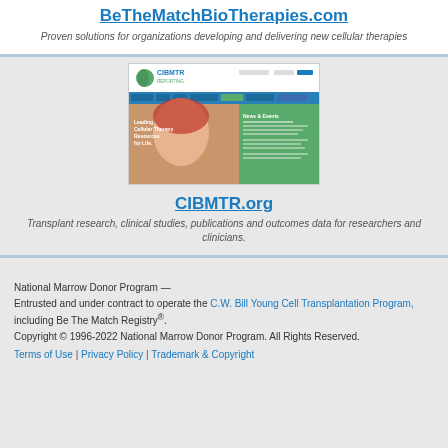BeTheMatchBioTherapies.com
Proven solutions for organizations developing and delivering new cellular therapies
[Figure (screenshot): Screenshot of CIBMTR.org website showing logo, navigation bar, and a smiling person with a green content panel with news and events]
CIBMTR.org
Transplant research, clinical studies, publications and outcomes data for researchers and clinicians.
National Marrow Donor Program —
Entrusted and under contract to operate the C.W. Bill Young Cell Transplantation Program, including Be The Match Registry®.
Copyright © 1996-2022 National Marrow Donor Program. All Rights Reserved.
Terms of Use | Privacy Policy | Trademark & Copyright